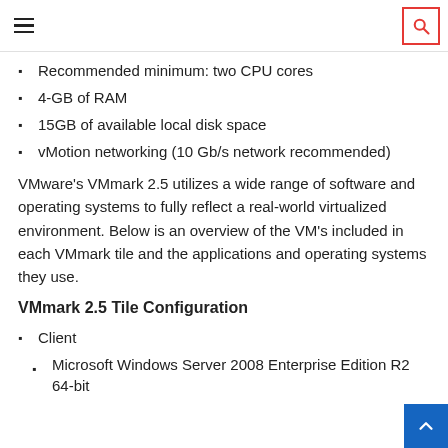Recommended minimum: two CPU cores
4-GB of RAM
15GB of available local disk space
vMotion networking (10 Gb/s network recommended)
VMware's VMmark 2.5 utilizes a wide range of software and operating systems to fully reflect a real-world virtualized environment. Below is an overview of the VM's included in each VMmark tile and the applications and operating systems they use.
VMmark 2.5 Tile Configuration
Client
Microsoft Windows Server 2008 Enterprise Edition R2 64-bit